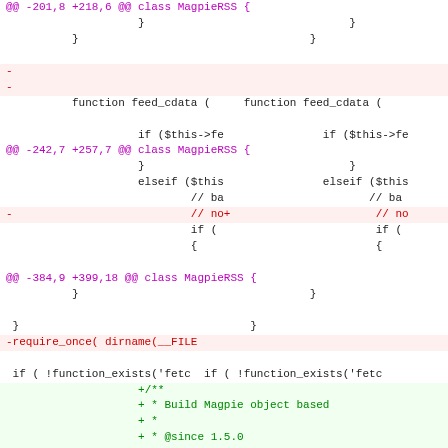[Figure (screenshot): Git diff view showing code changes to MagpieRSS class in PHP, with hunk headers in magenta, removed lines in red on pink background, added lines in green on light green background, and context lines in black.]